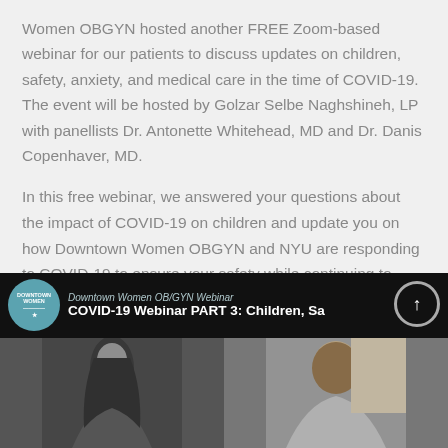Women OBGYN hosted another FREE Zoom-based webinar for our patients to discuss updates on children, safety, anxiety, and medical care in the time of COVID-19. The event will be hosted by Golzar Selbe Naghshineh, LP with panellists Dr. Antonette Whitehead, MD and Dr. Danis Copenhaver, MD.
In this free webinar, we answered your questions about the impact of COVID-19 on children and update you on how Downtown Women OBGYN and NYU are responding to COVID-19 to ensure your safety while continuing to provide quality OB care.
[Figure (screenshot): Video thumbnail for Downtown Women OB/GYN Webinar – COVID-19 Webinar PART 3: Children, Sa... Shows the Downtown Women logo (teal circle) and two black-and-white photos of women panelists side by side.]